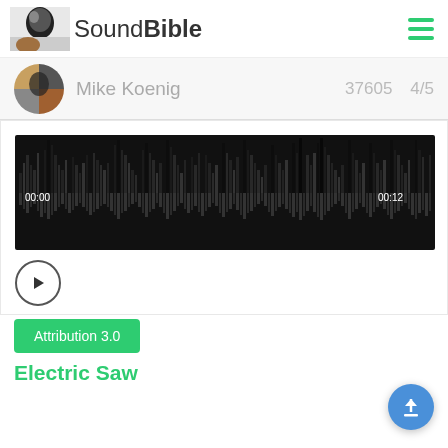SoundBible
Mike Koenig   37605   4/5
[Figure (other): Audio waveform player showing sound wave visualization with timestamps 00:00 and 00:12, play button below]
Attribution 3.0
Electric Saw